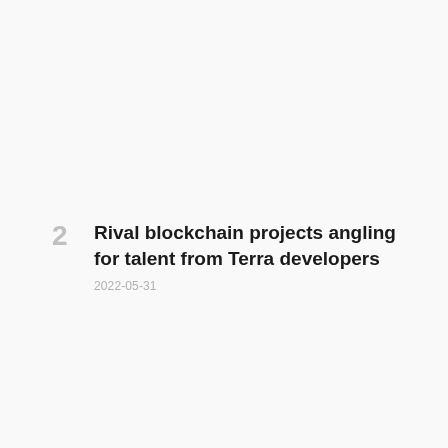Rival blockchain projects angling for talent from Terra developers
2022-05-31